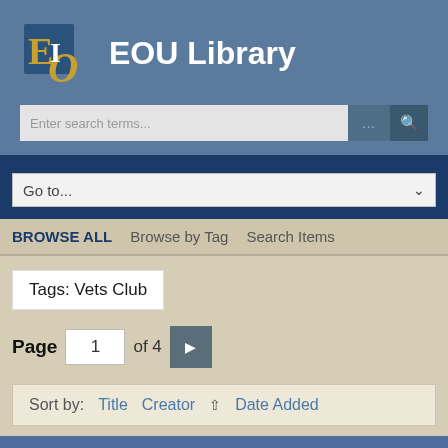[Figure (logo): EOU Library logo with stylized E and O letters in blue and gold]
EOU Library
Enter search terms...
Go to...
BROWSE ALL   Browse by Tag   Search Items
Tags: Vets Club
Page 1 of 4
Sort by:   Title   Creator   ↑   Date Added